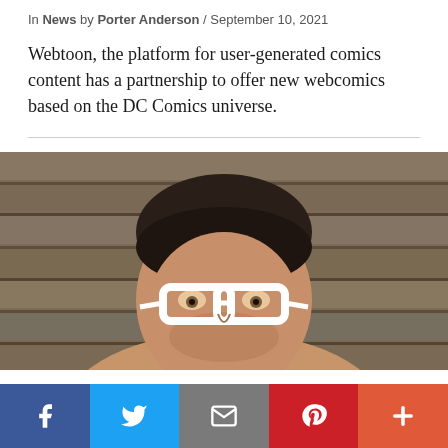In News by Porter Anderson / September 10, 2021
Webtoon, the platform for user-generated comics content has a partnership to offer new webcomics based on the DC Comics universe.
[Figure (photo): Portrait photo of a man with dark hair wearing white-framed glasses, photographed in front of wooden planks background]
Social sharing buttons: Facebook, Twitter, Email, Pinterest, More